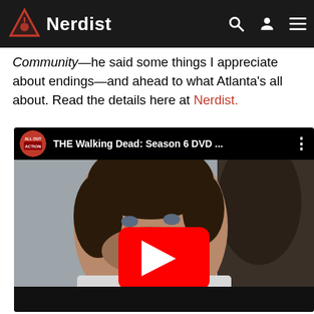Nerdist
Community—he said some things I appreciate about endings—and ahead to what Atlanta's all about. Read the details here at Nerdist.
[Figure (screenshot): YouTube video embed showing 'THE Walking Dead: Season 6 DVD ...' with a thumbnail of a man with dark curly hair in a white shirt, and a YouTube play button overlay. The video is from the 'ALL OUT ACTION' channel.]